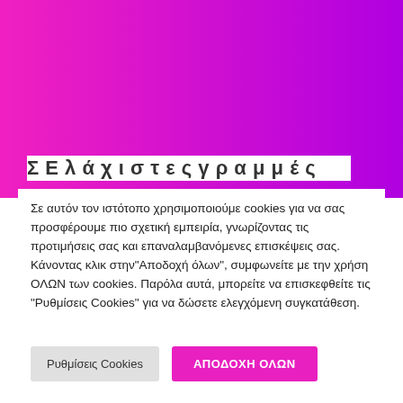[Figure (illustration): Pink to purple gradient background banner filling the upper portion of the page]
Σε αυτόν τον ιστότοπο χρησιμοποιούμε cookies για να σας προσφέρουμε πιο σχετική εμπειρία, γνωρίζοντας τις προτιμήσεις σας και επαναλαμβανόμενες επισκέψεις σας. Κάνοντας κλικ στην"Αποδοχή όλων", συμφωνείτε με την χρήση ΟΛΩΝ των cookies. Παρόλα αυτά, μπορείτε να επισκεφθείτε τις "Ρυθμίσεις Cookies" για να δώσετε ελεγχόμενη συγκατάθεση.
Ρυθμίσεις Cookies
ΑΠΟΔΟΧΗ ΟΛΩΝ